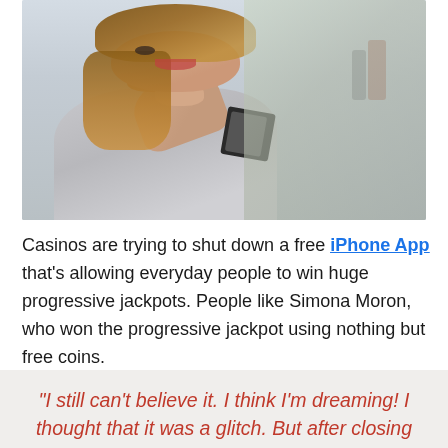[Figure (photo): A young woman with long brown hair, laughing excitedly with a raised fist, holding a smartphone. She is outdoors on a street, background is blurred.]
Casinos are trying to shut down a free iPhone App that's allowing everyday people to win huge progressive jackpots. People like Simona Moron, who won the progressive jackpot using nothing but free coins.
“I still can’t believe it. I think I’m dreaming! I thought that it was a glitch. But after closing and opening the